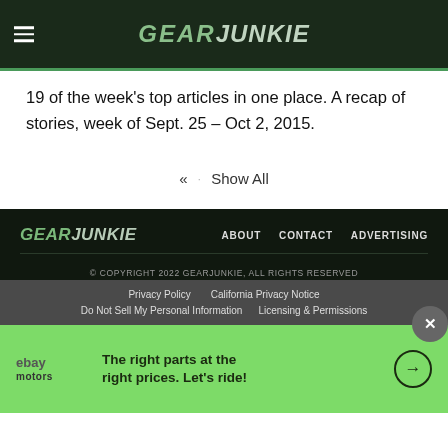GEARJUNKIE
19 of the week's top articles in one place. A recap of stories, week of Sept. 25 – Oct 2, 2015.
« · Show All
GEARJUNKIE  ABOUT  CONTACT  ADVERTISING  © COPYRIGHT 2022 GEARJUNKIE, ALL RIGHTS RESERVED  Privacy Policy  California Privacy Notice  Do Not Sell My Personal Information  Licensing & Permissions
[Figure (illustration): eBay Motors advertisement banner: green background with eBay Motors logo, text 'The right parts at the right prices. Let's ride!' and a circular arrow icon. Close button (X) in top right corner.]